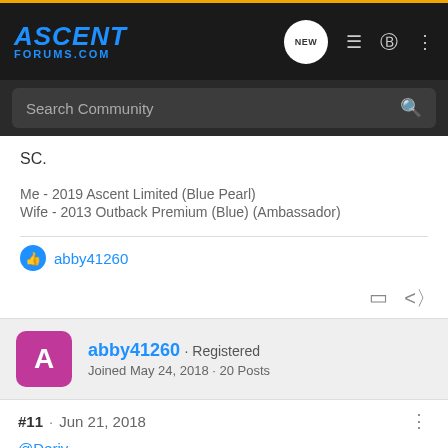[Figure (screenshot): Ascent Forums navigation bar with logo, NEW button, list icon, user icon, and more icon]
[Figure (screenshot): Search Community search bar with magnifying glass icon]
SC.
Me - 2019 Ascent Limited (Blue Pearl)
Wife - 2013 Outback Premium (Blue) (Ambassador)
abby41260
abby41260 · Registered
Joined May 24, 2018 · 20 Posts
#11 · Jun 21, 2018
@Deriv
[Figure (screenshot): Pedal Commander advertisement banner: YOU WILL SMILE 100% WITH PEDAL COMMANDER]